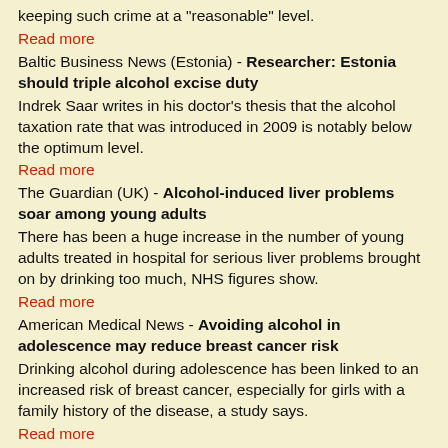keeping such crime at a "reasonable" level.
Read more
Baltic Business News (Estonia) - Researcher: Estonia should triple alcohol excise duty
Indrek Saar writes in his doctor’s thesis that the alcohol taxation rate that was introduced in 2009 is notably below the optimum level.
Read more
The Guardian (UK) - Alcohol-induced liver problems soar among young adults
There has been a huge increase in the number of young adults treated in hospital for serious liver problems brought on by drinking too much, NHS figures show.
Read more
American Medical News - Avoiding alcohol in adolescence may reduce breast cancer risk
Drinking alcohol during adolescence has been linked to an increased risk of breast cancer, especially for girls with a family history of the disease, a study says.
Read more
RTE.ie (Ireland) - Alcohol tops drug-related deaths
Alcohol accounted for the greatest number of drug-related